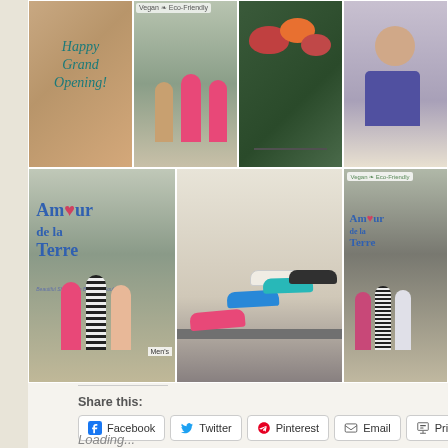[Figure (photo): Photo collage of a grand opening event for Amour de la Terre vegan eco-friendly shoe store. Top row: chocolate cake with 'Happy Grand Opening!' written in icing; three people posing outside the store; table with food/fruit bowls; person in purple/blue outfit. Bottom row: three women posing outside Amour de la Terre store front; colorful flat shoes on a shelf (pink, blue, teal, black, white); three women posed outside store with Vegan Eco-Friendly sign.]
Share this:
Facebook
Twitter
Pinterest
Email
Print
Loading...